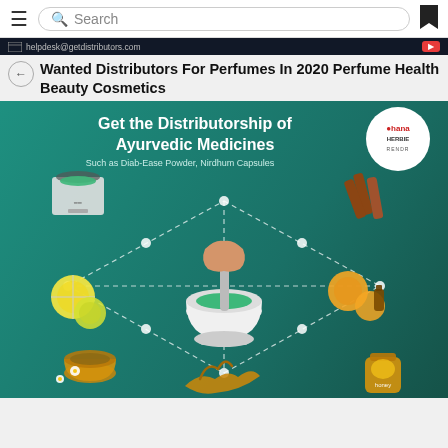Search
helpdesk@getdistributors.com
Wanted Distributors For Perfumes In 2020 Perfume Health Beauty Cosmetics
[Figure (infographic): Infographic on teal background: 'Get the Distributorship of Ayurvedic Medicines Such as Diab-Ease Powder, Nirdhum Capsules'. Center shows a hand using a mortar and pestle with green herbs. Surrounding items connected by dashed diamond lines include: scale with green herbs (top-left), cinnamon sticks (top-right), lemon slices (middle-left), orange slices with essential oil bottle (middle-right), herbal tea cup with daisy (bottom-left), ginger root (bottom-center), honey jar (bottom-right). Ohana brand logo in top-right circle.]